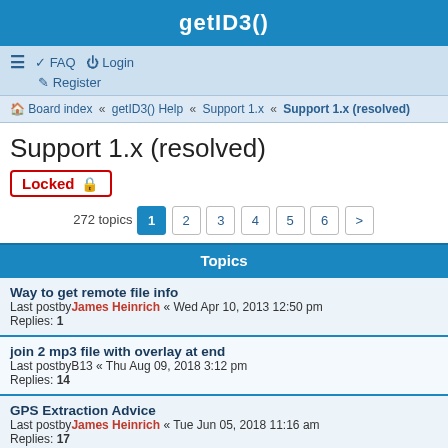getID3()
≡  FAQ  Login  Register
Board index « getID3() Help « Support 1.x « Support 1.x (resolved)
Support 1.x (resolved)
Locked 🔒
272 topics  1 2 3 4 5 6 >
Topics
Way to get remote file info
Last postby James Heinrich « Wed Apr 10, 2013 12:50 pm
Replies: 1
join 2 mp3 file with overlay at end
Last postby B13 « Thu Aug 09, 2018 3:12 pm
Replies: 14
GPS Extraction Advice
Last postby James Heinrich « Tue Jun 05, 2018 11:16 am
Replies: 17
sort alphabeticly by filename -how?
Last postby Phatline « Sat Apr 22, 2017 5:42 pm
Replies: 4